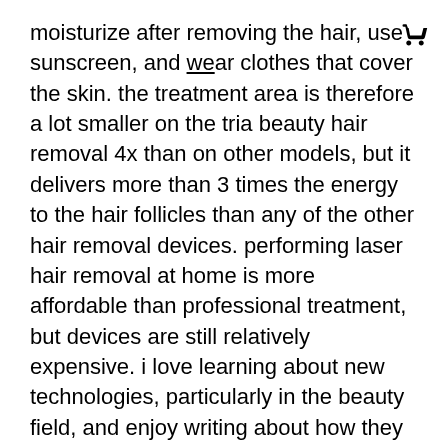moisturize after removing the hair, use sunscreen, and wear clothes that cover the skin. the treatment area is therefore a lot smaller on the tria beauty hair removal 4x than on other models, but it delivers more than 3 times the energy to the hair follicles than any of the other hair removal devices. performing laser hair removal at home is more affordable than professional treatment, but devices are still relatively expensive. i love learning about new technologies, particularly in the beauty field, and enjoy writing about how they can benefit our well-being. in our tests, we found there was no significant difference between the highest levels of any of the ipl and laser hair removal systems that we have discussed here. six laser hair-removal sessions at bello corpo med spa (up to 89% off). it is very easy to set up and has a single button for selecting your energy setting and for triggering the flashes. as a rough guide, the approximate number of pulses
[Figure (other): Shopping cart icon in top right corner]